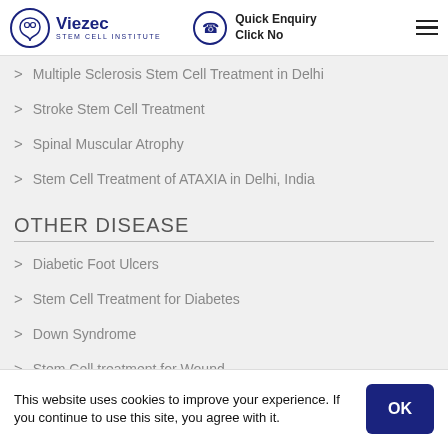Viezec Stem Cell Institute — Quick Enquiry Click No
Multiple Sclerosis Stem Cell Treatment in Delhi
Stroke Stem Cell Treatment
Spinal Muscular Atrophy
Stem Cell Treatment of ATAXIA in Delhi, India
OTHER DISEASE
Diabetic Foot Ulcers
Stem Cell Treatment for Diabetes
Down Syndrome
Stem Cell treatment for Wound
Platelet Rich Plasma
This website uses cookies to improve your experience. If you continue to use this site, you agree with it.